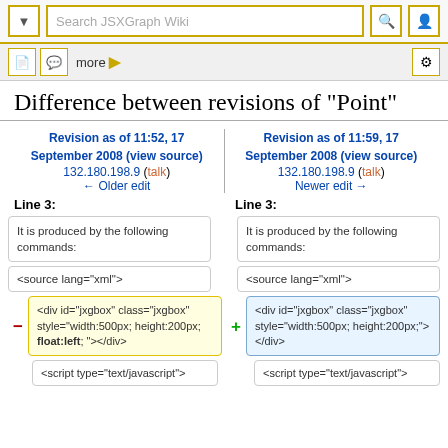Search JSXGraph Wiki
Difference between revisions of "Point"
Revision as of 11:52, 17 September 2008 (view source)
132.180.198.9 (talk)
← Older edit
Revision as of 11:59, 17 September 2008 (view source)
132.180.198.9 (talk)
Newer edit →
Line 3:
Line 3:
It is produced by the following commands:
It is produced by the following commands:
<source lang="xml">
<source lang="xml">
<div id="jxgbox" class="jxgbox" style="width:500px; height:200px; float:left; "></div>
<div id="jxgbox" class="jxgbox" style="width:500px; height:200px;"></div>
<script type="text/javascript">
<script type="text/javascript">